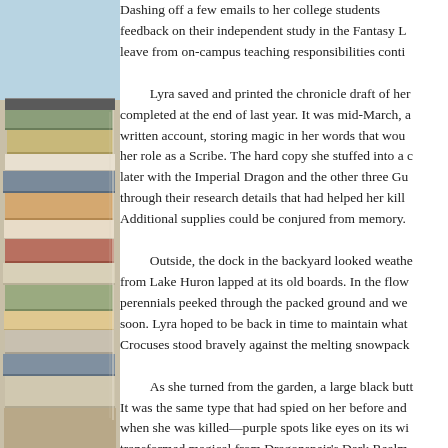[Figure (photo): Stack of books photographed from the side, showing spines and pages, with light blue background at top]
Dashing off a few emails to her college students feedback on their independent study in the Fantasy L leave from on-campus teaching responsibilities conti

Lyra saved and printed the chronicle draft of her completed at the end of last year. It was mid-March, a written account, storing magic in her words that wou her role as a Scribe. The hard copy she stuffed into a c later with the Imperial Dragon and the other three Gu through their research details that had helped her kill Additional supplies could be conjured from memory.

Outside, the dock in the backyard looked weathe from Lake Huron lapped at its old boards. In the flov perennials peeked through the packed ground and we soon. Lyra hoped to be back in time to maintain what Crocuses stood bravely against the melting snowpack

As she turned from the garden, a large black butt It was the same type that had spied on her before and when she was killed—purple spots like eyes on its wi transformed magical from Dragonspeir's Dark Realm Thinking that someone watched her leave caused a ci